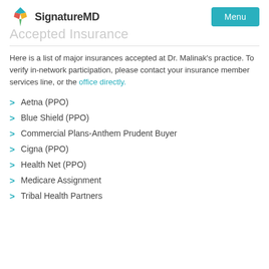SignatureMD | Menu
Accepted Insurance
Here is a list of major insurances accepted at Dr. Malinak's practice. To verify in-network participation, please contact your insurance member services line, or the office directly.
Aetna (PPO)
Blue Shield (PPO)
Commercial Plans-Anthem Prudent Buyer
Cigna (PPO)
Health Net (PPO)
Medicare Assignment
Tribal Health Partners